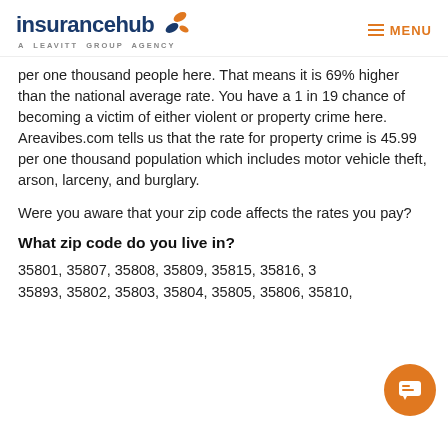insurancehub — A LEAVITT GROUP AGENCY | MENU
per one thousand people here. That means it is 69% higher than the national average rate. You have a 1 in 19 chance of becoming a victim of either violent or property crime here. Areavibes.com tells us that the rate for property crime is 45.99 per one thousand population which includes motor vehicle theft, arson, larceny, and burglary.
Were you aware that your zip code affects the rates you pay?
What zip code do you live in?
35801, 35807, 35808, 35809, 35815, 35816, 3…
35893, 35802, 35803, 35804, 35805, 35806, 35810,